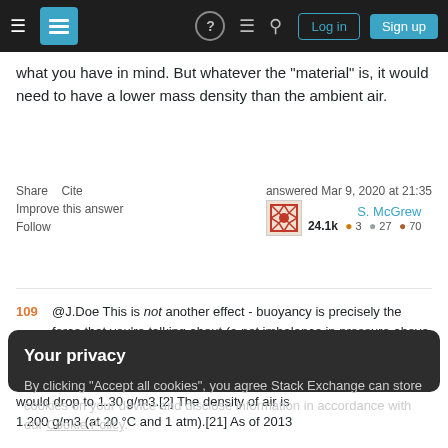Stack Exchange navigation bar with login and sign up buttons
what you have in mind. But whatever the "material" is, it would need to have a lower mass density than the ambient air.
Share  Cite  Improve this answer  Follow  answered Mar 9, 2020 at 21:35  S. McGrew  24.1k ● 3 ● 27 ● 70
109  @J.Doe This is not another effect - buoyancy is precisely the force that you're talking about (a net imbalance in pressure above and below the object) and being less dense than air is precisely the criterion required such that the
Your privacy
By clicking "Accept all cookies", you agree Stack Exchange can store cookies on your device and disclose information in accordance with our Cookie Policy.
Accept all cookies  Customize settings
would drop to 1.30 g/m3.[2] The density of air is 1.200 g/m3 (at 20 °C and 1 atm).[21] As of 2013